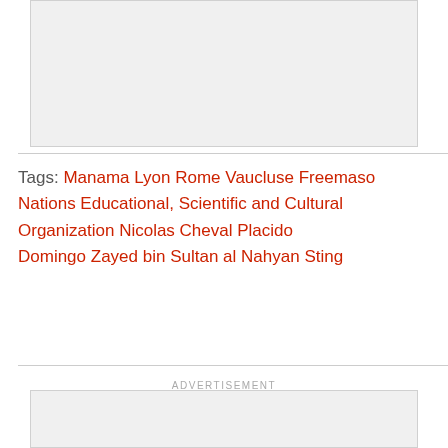[Figure (other): Top advertisement placeholder box with light gray background]
Tags: Manama  Lyon  Rome  Vaucluse  Freemasons  Nations Educational, Scientific and Cultural Organization  Nicolas Cheval  Placido Domingo  Zayed bin Sultan al Nahyan  Sting
ADVERTISEMENT
[Figure (other): Bottom advertisement placeholder box with light gray background]